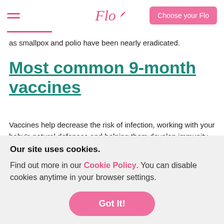Flo — Choose your Flo
as smallpox and polio have been nearly eradicated.
Most common 9-month vaccines
Vaccines help decrease the risk of infection, working with your baby's natural defenses and helping them develop immunity to a particular disease. It is very important to keep an up-to-date record
Our site uses cookies.
Find out more in our Cookie Policy. You can disable cookies anytime in your browser settings.
Got It!